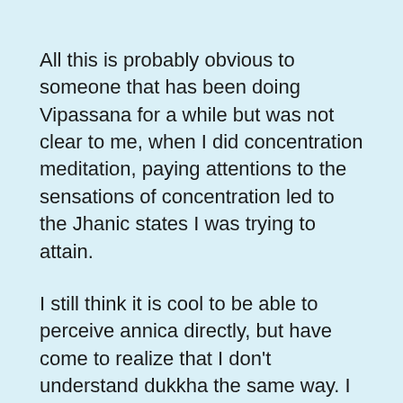All this is probably obvious to someone that has been doing Vipassana for a while but was not clear to me, when I did concentration meditation, paying attentions to the sensations of concentration led to the Jhanic states I was trying to attain.
I still think it is cool to be able to perceive annica directly, but have come to realize that I don't understand dukkha the same way. I mean there is dissastisfaction when I am sad or want something. The Buddha taught that there is a degree of unsatisfaction even in the most pleasant of things like the Jhanic states. I don't precieve this directly from moment to moment only in the aftermath, maybe